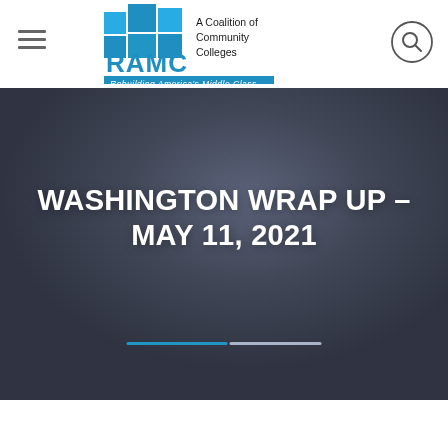RAMC — A Coalition of Community Colleges — Rebuilding America's Middle Class
WASHINGTON WRAP UP – MAY 11, 2021